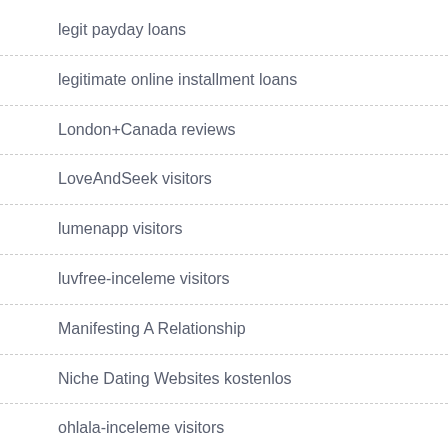legit payday loans
legitimate online installment loans
London+Canada reviews
LoveAndSeek visitors
lumenapp visitors
luvfree-inceleme visitors
Manifesting A Relationship
Niche Dating Websites kostenlos
ohlala-inceleme visitors